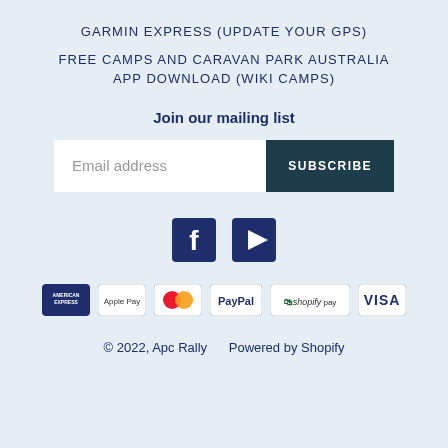GARMIN EXPRESS (UPDATE YOUR GPS)
FREE CAMPS AND CARAVAN PARK AUSTRALIA APP DOWNLOAD (WIKI CAMPS)
Join our mailing list
Email address  SUBSCRIBE
[Figure (logo): Facebook and YouTube social media icons]
[Figure (logo): Payment method icons: American Express, Apple Pay, Mastercard, PayPal, Shopify Pay, Visa]
© 2022, Apc Rally    Powered by Shopify